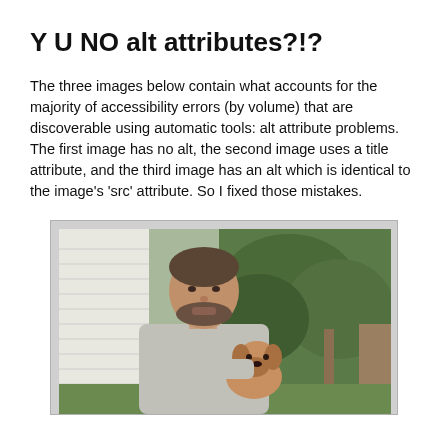Y U NO alt attributes?!?
The three images below contain what accounts for the majority of accessibility errors (by volume) that are discoverable using automatic tools: alt attribute problems. The first image has no alt, the second image uses a title attribute, and the third image has an alt which is identical to the image's 'src' attribute. So I fixed those mistakes.
[Figure (photo): A man with short hair and a beard holding a small tan/brown puppy outdoors, with a house siding and green trees/bushes in the background.]